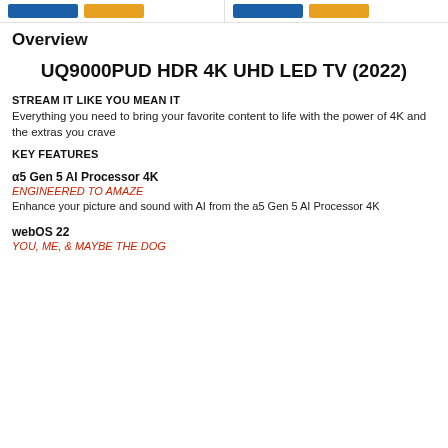[top bar with buttons]
Overview
UQ9000PUD HDR 4K UHD LED TV (2022)
STREAM IT LIKE YOU MEAN IT
Everything you need to bring your favorite content to life with the power of 4K and the extras you crave
KEY FEATURES
α5 Gen 5 AI Processor 4K
ENGINEERED TO AMAZE
Enhance your picture and sound with AI from the a5 Gen 5 AI Processor 4K
webOS 22
YOU, ME, & MAYBE THE DOG